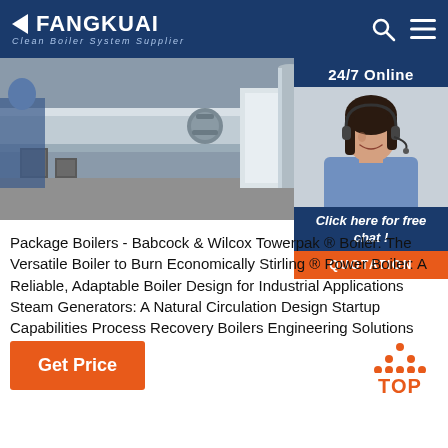FANGKUAI - Clean Boiler System Supplier
[Figure (photo): Industrial boiler pipes and equipment in a factory setting]
[Figure (photo): 24/7 Online support agent - woman with headset smiling]
Click here for free chat !
QUOTATION
Package Boilers - Babcock & Wilcox Towerpak ® Boiler: The Versatile Boiler to Burn Economically Stirling ® Power Boiler: A Reliable, Adaptable Boiler Design for Industrial Applications Steam Generators: A Natural Circulation Design Startup Capabilities Process Recovery Boilers Engineering Solutions Water-tube Boiler
Get Price
[Figure (other): TOP scroll-to-top button with orange dots and TOP text]